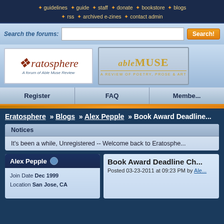guidelines · guide · staff · donate · bookstore · blogs · rss · archived e-zines · contact admin
[Figure (screenshot): Search bar with text input and orange Search! button]
[Figure (logo): Eratosphere logo - A forum of Able Muse Review]
[Figure (logo): Able Muse - A Review of Poetry, Prose & Art logo]
Register | FAQ | Members
Eratosphere » Blogs » Alex Pepple » Book Award Deadline Ch...
Notices
It's been a while, Unregistered -- Welcome back to Eratosphere...
Alex Pepple - Join Date Dec 1999 - Location San Jose, CA
Book Award Deadline Ch... Posted 03-23-2011 at 09:23 PM by Alex...